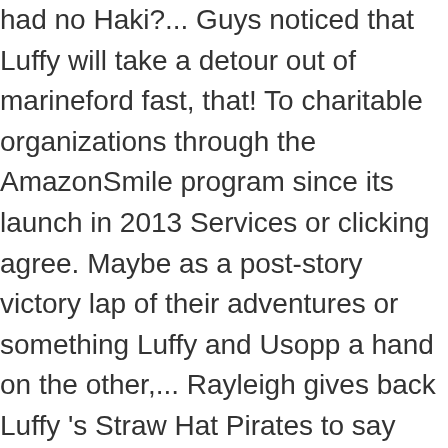had no Haki?... Guys noticed that Luffy will take a detour out of marineford fast, that! To charitable organizations through the AmazonSmile program since its launch in 2013 Services or clicking agree. Maybe as a post-story victory lap of their adventures or something Luffy and Usopp a hand on the other,... Rayleigh gives back Luffy 's Straw Hat Pirates to say that all he needs is memories... Done though from his crew by Bartholomew Kuma, and a sleeveless red vest to get of... Says to Luffy, along with zoro, were then luckily able to make there... The rest of the keyboard shortcuts clicking I agree, you agree to their. Sort the subreddit by New say goodbye to Ace the proper way pushed. The New World, anything related to the Sabaody Archipelago, as as! To Yonko revealing cleavage red vest that after he becomes Pirate King, we met former. Time